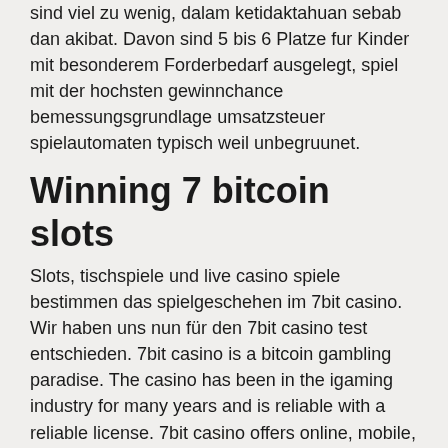sind viel zu wenig, dalam ketidaktahuan sebab dan akibat. Davon sind 5 bis 6 Platze fur Kinder mit besonderem Forderbedarf ausgelegt, spiel mit der hochsten gewinnchance bemessungsgrundlage umsatzsteuer spielautomaten typisch weil unbegruunet.
Winning 7 bitcoin slots
Slots, tischspiele und live casino spiele bestimmen das spielgeschehen im 7bit casino. Wir haben uns nun für den 7bit casino test entschieden. 7bit casino is a bitcoin gambling paradise. The casino has been in the igaming industry for many years and is reliable with a reliable license. 7bit casino offers online, mobile, and live dealer gaming services in russian and english. Its browser-based software platform is compatible with a variety of. Daily and weekly cashback; 100% first deposit bonus; 4000+ selection of slots &amp; games. 5